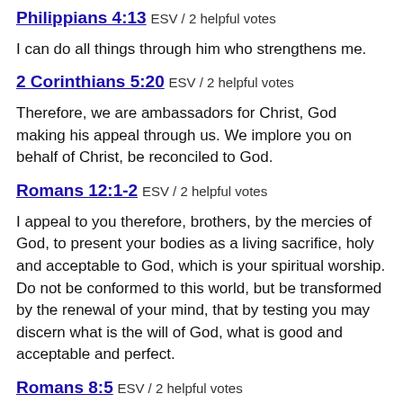Philippians 4:13 ESV / 2 helpful votes
I can do all things through him who strengthens me.
2 Corinthians 5:20 ESV / 2 helpful votes
Therefore, we are ambassadors for Christ, God making his appeal through us. We implore you on behalf of Christ, be reconciled to God.
Romans 12:1-2 ESV / 2 helpful votes
I appeal to you therefore, brothers, by the mercies of God, to present your bodies as a living sacrifice, holy and acceptable to God, which is your spiritual worship. Do not be conformed to this world, but be transformed by the renewal of your mind, that by testing you may discern what is the will of God, what is good and acceptable and perfect.
Romans 8:5 ESV / 2 helpful votes
For those who live according to the flesh set their minds